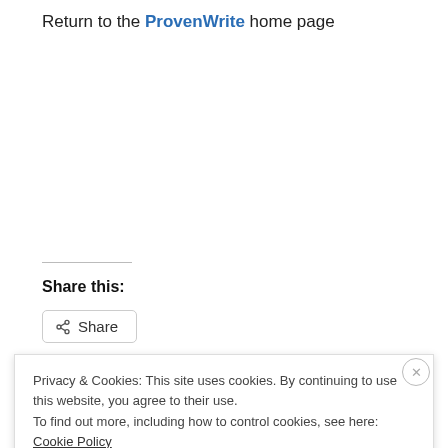Return to the ProvenWrite home page
Share this:
Share
Privacy & Cookies: This site uses cookies. By continuing to use this website, you agree to their use. To find out more, including how to control cookies, see here: Cookie Policy
Close and accept